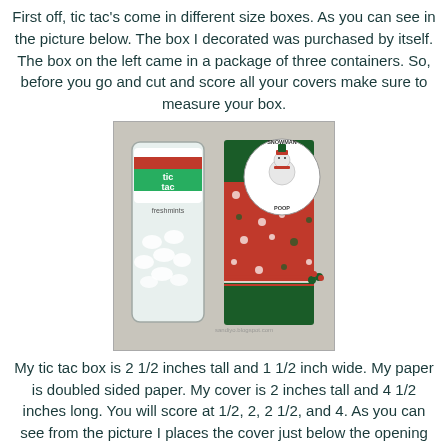First off, tic tac's come in different size boxes. As you can see in the picture below. The box I decorated was purchased by itself. The box on the left came in a package of three containers. So, before you go and cut and score all your covers make sure to measure your box.
[Figure (photo): Photo showing two tic tac boxes side by side: a plain clear tic tac freshmints box on the left, and a decorated box on the right covered in Christmas-themed paper with a 'Snowman Poop' circular label, green and red polka dot paper, and red and white twine tied around it.]
My tic tac box is 2 1/2 inches tall and 1 1/2 inch wide. My paper is doubled sided paper. My cover is 2 inches tall and 4 1/2 inches long. You will score at 1/2, 2, 2 1/2, and 4. As you can see from the picture I places the cover just below the opening flap on top. So that way you can keep the cover on the box and still get to the mints. The little strip of paper, which is the other side of the paper, is 1/2 wide and 4 1/2